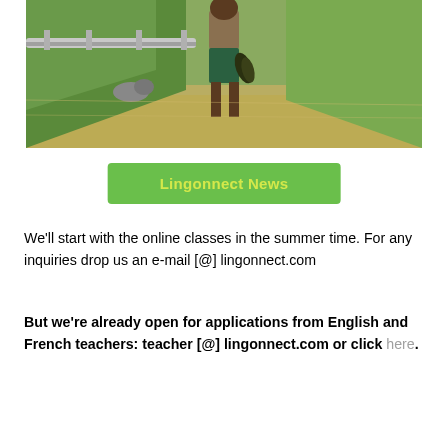[Figure (photo): A person standing in a flooded area near a road guardrail, holding bananas, wearing a brown t-shirt and green shorts. Green grassy slope in background.]
Lingonnect News
We'll start with the online classes in the summer time. For any inquiries drop us an e-mail [@] lingonnect.com
But we're already open for applications from English and French teachers: teacher [@] lingonnect.com or click here.